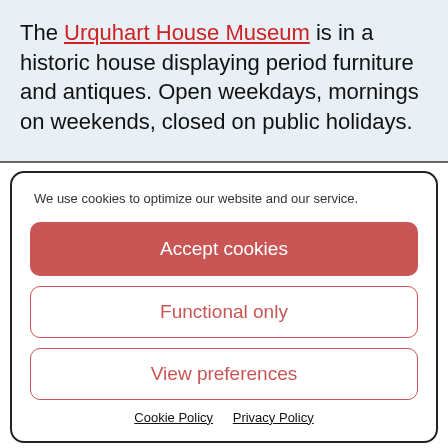The Urquhart House Museum is in a historic house displaying period furniture and antiques. Open weekdays, mornings on weekends, closed on public holidays.
We use cookies to optimize our website and our service.
Accept cookies
Functional only
View preferences
Cookie Policy  Privacy Policy